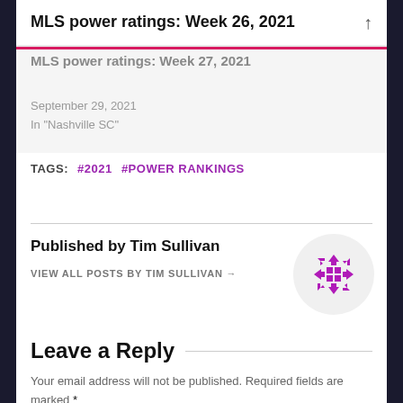MLS power ratings: Week 26, 2021
MLS power ratings: Week 27, 2021
September 29, 2021
In "Nashville SC"
TAGS: #2021 #POWER RANKINGS
Published by Tim Sullivan
VIEW ALL POSTS BY TIM SULLIVAN →
[Figure (logo): Circular magenta/purple MLS-style snowflake logo with arrows and squares]
Leave a Reply
Your email address will not be published. Required fields are marked *